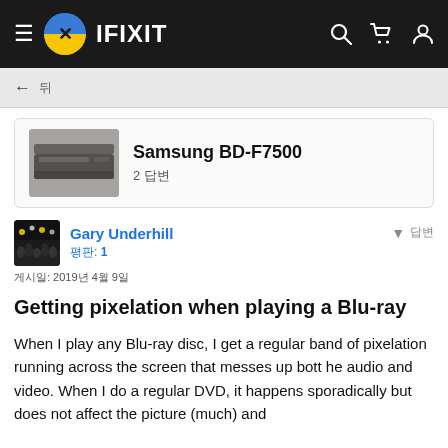IFIXIT navigation bar
← 뒤
[Figure (photo): Samsung BD-F7500 Blu-ray player device image thumbnail]
Samsung BD-F7500
2 답변
Gary Underhill
평판: 1
게시일: 2019년 4월 9일
Getting pixelation when playing a Blu-ray
When I play any Blu-ray disc, I get a regular band of pixelation running across the screen that messes up bott he audio and video. When I do a regular DVD, it happens sporadically but does not affect the picture (much) and